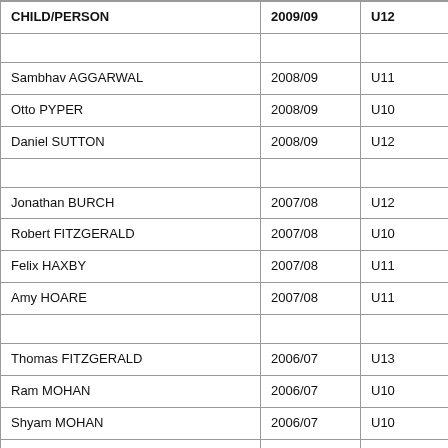| CHILD/PERSON | 2009/09 | U12 |
| --- | --- | --- |
|  |  |  |
| Sambhav AGGARWAL | 2008/09 | U11 |
| Otto PYPER | 2008/09 | U10 |
| Daniel SUTTON | 2008/09 | U12 |
|  |  |  |
| Jonathan BURCH | 2007/08 | U12 |
| Robert FITZGERALD | 2007/08 | U10 |
| Felix HAXBY | 2007/08 | U11 |
| Amy HOARE | 2007/08 | U11 |
|  |  |  |
| Thomas FITZGERALD | 2006/07 | U13 |
| Ram MOHAN | 2006/07 | U10 |
| Shyam MOHAN | 2006/07 | U10 |
| Barnaby PAUL | 2006/07 | U11 |
| Ramsay PYPER | 2006/07 | U11 |
| Zi-Yuan QU | 2006/07 | U12 |
| Oskar SHORTZ | 2006/07 | U13 |